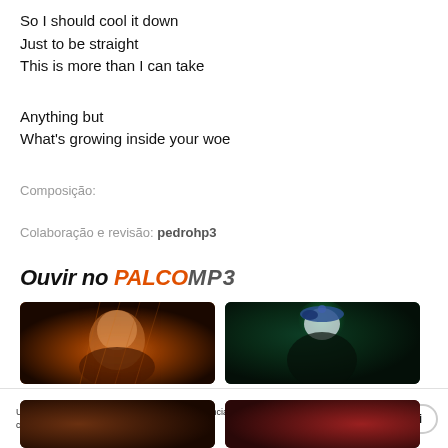So I should cool it down
Just to be straight
This is more than I can take
Anything but
What's growing inside your woe
Composição:
Colaboração e revisão: pedrohp3
Ouvir no PalcoMP3
[Figure (photo): Two music thumbnails side by side: left shows a glowing bald head with warm orange/fire tones, right shows a person in a blue cap with green stage lighting]
Utilizamos cookies para personalizar sua experiência. Ao acessar o site, você concorda com a nossa Política de Privacidade.
[Figure (photo): Two music genre cards: left shows Hip Hop / Rap - Tribo da Periferia with dark warm tones, right shows Arrocha - Unha Pintada with dark red tones]